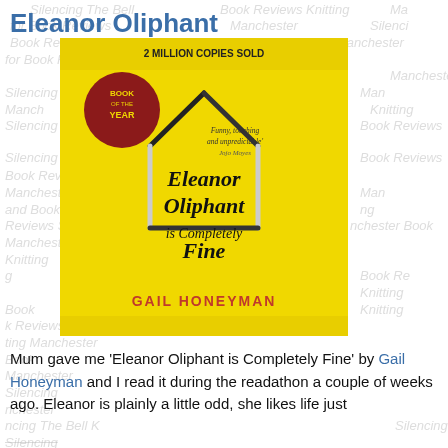Eleanor Oliphant
[Figure (photo): Photo of the book 'Eleanor Oliphant is Completely Fine' by Gail Honeyman. Yellow cover with matchsticks arranged in a house shape. Text on cover: '2 MILLION COPIES SOLD', 'BOOK OF THE YEAR', 'Funny, touching and unpredictable - Jojo Moyes', 'Eleanor Oliphant is Completely Fine', 'GAIL HONEYMAN'.]
Mum gave me 'Eleanor Oliphant is Completely Fine' by Gail Honeyman and I read it during the readathon a couple of weeks ago. Eleanor is plainly a little odd, she likes life just